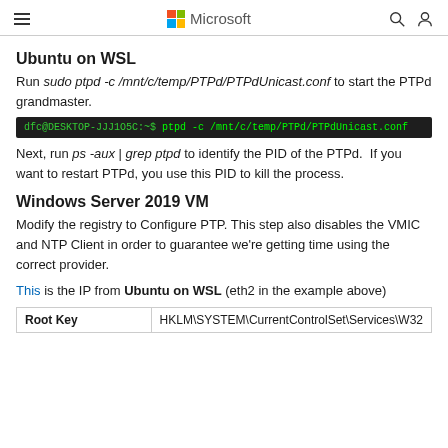Microsoft
Ubuntu on WSL
Run sudo ptpd -c /mnt/c/temp/PTPd/PTPdUnicast.conf to start the PTPd grandmaster.
[Figure (screenshot): Terminal command: dfc@DESKTOP-JJJ1O5C:~$ ptpd -c /mnt/c/temp/PTPd/PTPdUnicast.conf]
Next, run ps -aux | grep ptpd to identify the PID of the PTPd.  If you want to restart PTPd, you use this PID to kill the process.
Windows Server 2019 VM
Modify the registry to Configure PTP. This step also disables the VMIC and NTP Client in order to guarantee we're getting time using the correct provider.
This is the IP from Ubuntu on WSL (eth2 in the example above)
| Root Key |  |
| --- | --- |
| Root Key | HKLM\SYSTEM\CurrentControlSet\Services\W32 |